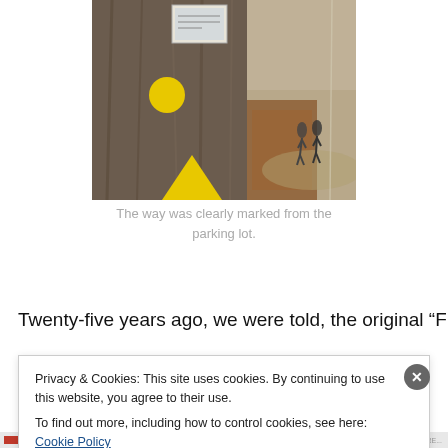[Figure (photo): Photo of a tree trunk with yellow directional markers (a circle and a triangle arrow) attached to it, and a small sign visible. In the background, two people walk on a path through a park in autumn.]
The way was clearly marked from the parking lot.
Twenty-five years ago, we were told, the original “First Day
Privacy & Cookies: This site uses cookies. By continuing to use this website, you agree to their use.
To find out more, including how to control cookies, see here: Cookie Policy
Close and accept